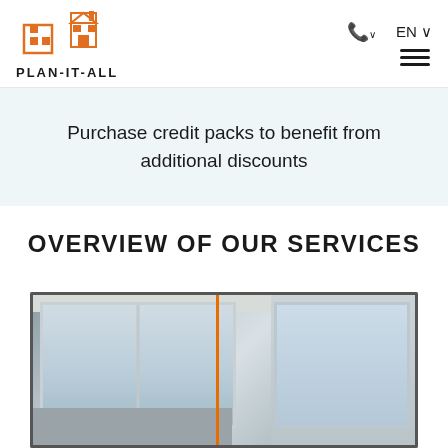[Figure (logo): Plan-It-All logo with orange house/building icon and bold text PLAN-IT-ALL]
EN  ☰
Purchase credit packs to benefit from additional discounts
OVERVIEW OF OUR SERVICES
[Figure (photo): Interior room photo showing windows and ceiling light, with an orange vertical line overlaid splitting the image]